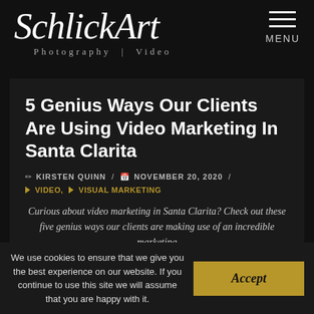[Figure (logo): SchlickArt Photography | Video logo in white italic script on dark background]
5 Genius Ways Our Clients Are Using Video Marketing In Santa Clarita
KIRSTEN QUINN / NOVEMBER 20, 2020 /
VIDEO, VISUAL MARKETING
Curious about video marketing in Santa Clarita? Check out these five genius ways our clients are making use of an incredible marketing
We use cookies to ensure that we give you the best experience on our website. If you continue to use this site we will assume that you are happy with it.